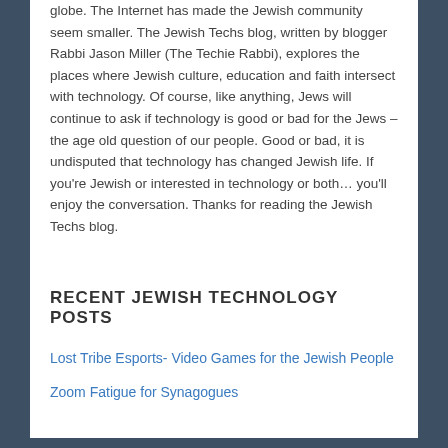globe. The Internet has made the Jewish community seem smaller. The Jewish Techs blog, written by blogger Rabbi Jason Miller (The Techie Rabbi), explores the places where Jewish culture, education and faith intersect with technology. Of course, like anything, Jews will continue to ask if technology is good or bad for the Jews – the age old question of our people. Good or bad, it is undisputed that technology has changed Jewish life. If you're Jewish or interested in technology or both… you'll enjoy the conversation. Thanks for reading the Jewish Techs blog.
RECENT JEWISH TECHNOLOGY POSTS
Lost Tribe Esports- Video Games for the Jewish People
Zoom Fatigue for Synagogues